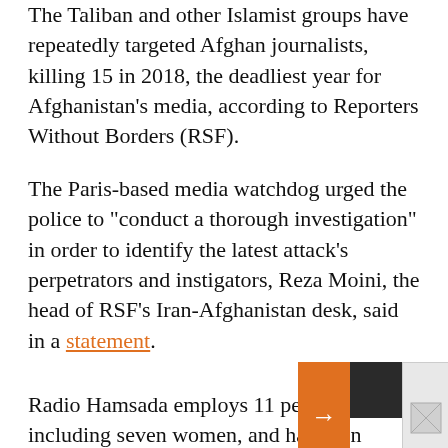The Taliban and other Islamist groups have repeatedly targeted Afghan journalists, killing 15 in 2018, the deadliest year for Afghanistan's media, according to Reporters Without Borders (RSF).
The Paris-based media watchdog urged the police to "conduct a thorough investigation" in order to identify the latest attack's perpetrators and instigators, Reza Moini, the head of RSF's Iran-Afghanistan desk, said in a statement.
Radio Hamsada employs 11 people, including seven women, and has been broadcasting from 6 a.m. to midnight since 2007, according to RSF.
The London-b... International d... crime" and urg...
Déjà Food: Russia's Replica Restaurant Brands